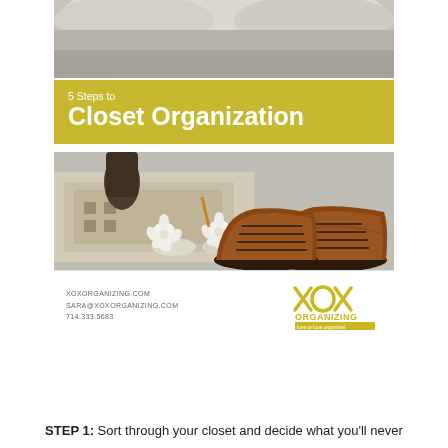[Figure (photo): Cover image of a document titled '5 Steps to Closet Organization' showing shoes (women's sandals with white flowers and men's brown leather oxfords) on a rug, with a couch visible at top. Features a yellow-green banner with the title text and XOX Organizing branding at the bottom.]
XOXORGANIZING.COM
SARA@XOXORGANIZING.COM
714.333.5683
STEP 1: Sort through your closet and decide what you'll never